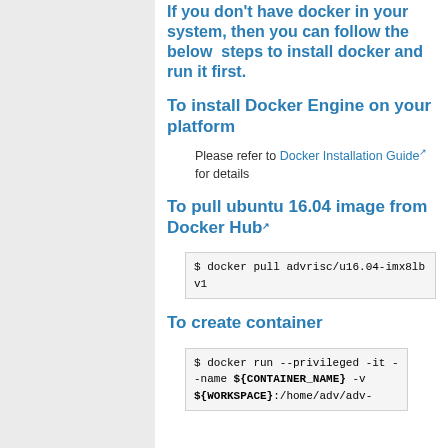If you don't have docker in your system, then you can follow the below steps to install docker and run it first.
To install Docker Engine on your platform
Please refer to Docker Installation Guide for details
To pull ubuntu 16.04 image from Docker Hub
$ docker pull advrisc/u16.04-imx8lbv1
To create container
$ docker run --privileged -it --name ${CONTAINER_NAME} -v ${WORKSPACE}:/home/adv/adv-